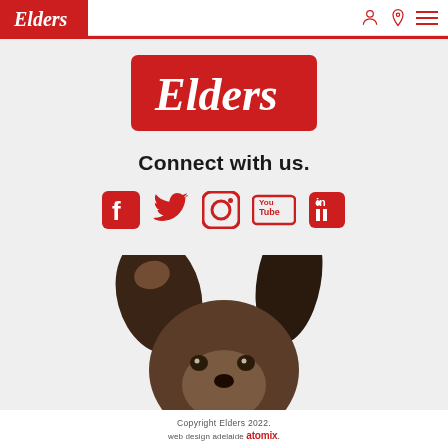[Figure (logo): Elders logo in red header bar at top of page]
[Figure (logo): Large Elders logo on red rounded rectangle background]
Connect with us.
[Figure (infographic): Social media icons: Facebook, Twitter, Instagram, YouTube, LinkedIn — all in red]
[Figure (photo): Close-up of a dog (border collie / kelpie type) looking up, showing ears and eyes, on grey background]
Copyright Elders 2022. web design adelaide atomix .
[Figure (logo): Atomix logo in footer]